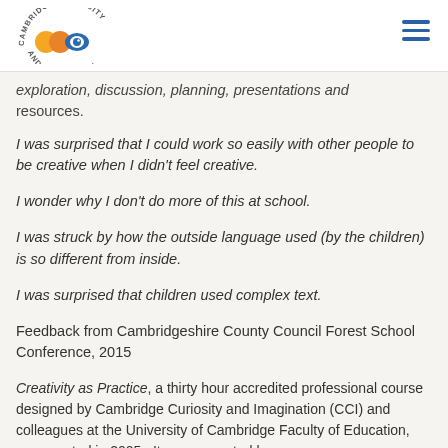Cambridge Curiosity and Imagination logo + navigation
exploration, discussion, planning, presentations and resources.
I was surprised that I could work so easily with other people to be creative when I didn't feel creative.
I wonder why I don't do more of this at school.
I was struck by how the outside language used (by the children) is so different from inside.
I was surprised that children used complex text.
Feedback from Cambridgeshire County Council Forest School Conference, 2015
Creativity as Practice, a thirty hour accredited professional course designed by Cambridge Curiosity and Imagination (CCI) and colleagues at the University of Cambridge Faculty of Education, was created in 2005.  It was prompted by